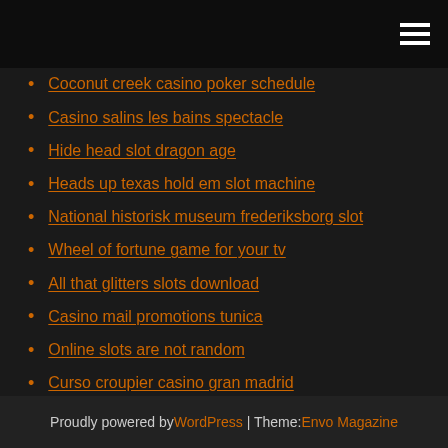Coconut creek casino poker schedule
Casino salins les bains spectacle
Hide head slot dragon age
Heads up texas hold em slot machine
National historisk museum frederiksborg slot
Wheel of fortune game for your tv
All that glitters slots download
Casino mail promotions tunica
Online slots are not random
Curso croupier casino gran madrid
Card loader for slot games
Proudly powered by WordPress | Theme: Envo Magazine